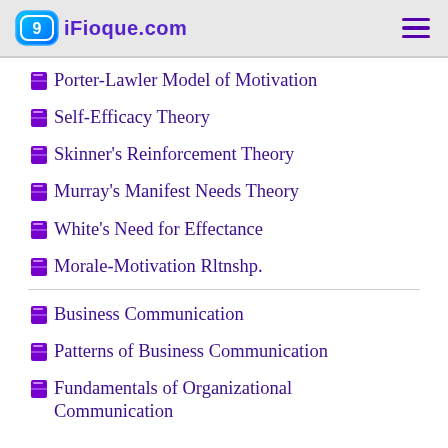ifioque.com
Porter-Lawler Model of Motivation
Self-Efficacy Theory
Skinner's Reinforcement Theory
Murray's Manifest Needs Theory
White's Need for Effectance
Morale-Motivation Rltnshp.
Business Communication
Patterns of Business Communication
Fundamentals of Organizational Communication